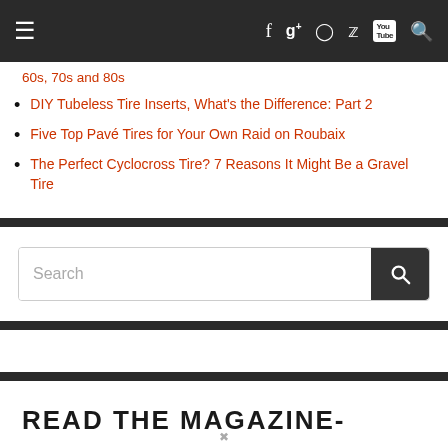Navigation bar with hamburger menu, social icons (Facebook, Google+, Instagram, Twitter, YouTube) and search
60s, 70s and 80s
DIY Tubeless Tire Inserts, What’s the Difference: Part 2
Five Top Pavé Tires for Your Own Raid on Roubaix
The Perfect Cyclocross Tire? 7 Reasons It Might Be a Gravel Tire
READ THE MAGAZINE-